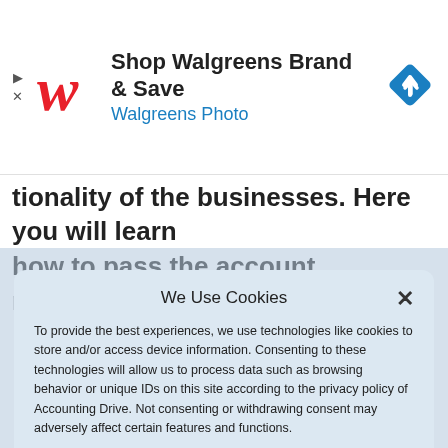[Figure (screenshot): Walgreens advertisement banner: Walgreens cursive W logo in red, text 'Shop Walgreens Brand & Save' in bold black and 'Walgreens Photo' in blue, with a blue diamond navigation icon on the right. Ad close/skip icons on the left.]
…tionality of the businesses. Here you will learn how to pass the account receivable journal entry.
We Use Cookies
To provide the best experiences, we use technologies like cookies to store and/or access device information. Consenting to these technologies will allow us to process data such as browsing behavior or unique IDs on this site according to the privacy policy of Accounting Drive. Not consenting or withdrawing consent may adversely affect certain features and functions.
Accept
Terms & Conditions   Privacy Policy